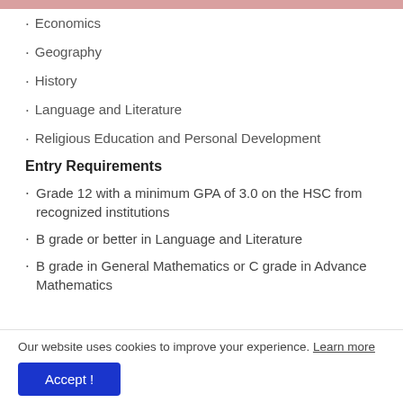Economics
Geography
History
Language and Literature
Religious Education and Personal Development
Entry Requirements
Grade 12 with a minimum GPA of 3.0 on the HSC from recognized institutions
B grade or better in Language and Literature
B grade in General Mathematics or C grade in Advance Mathematics
Our website uses cookies to improve your experience. Learn more
Accept !